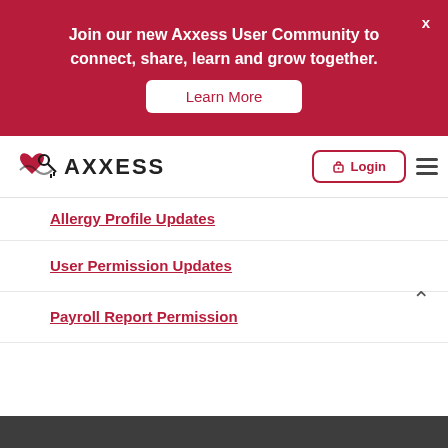[Figure (infographic): Red banner with text 'Join our new Axxess User Community to connect, share, learn and grow together.' with a Learn More button and X close button]
[Figure (logo): Axxess logo with heart-and-key icon and AXXESS wordmark, plus Login button and hamburger menu]
Allergy Profile Updates
User Permission Updates
Payroll Report Permission